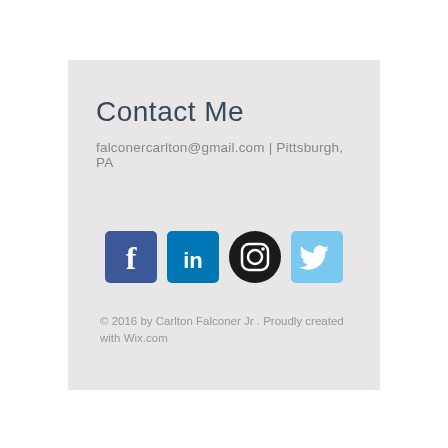Contact Me
falconercarlton@gmail.com | Pittsburgh, PA
[Figure (illustration): Row of four social media icons: Facebook (blue square with 'f'), LinkedIn (blue square with 'in'), Instagram (black circle with camera icon), Twitter (light blue square with bird icon)]
© 2016 by Carlton Falconer Jr . Proudly created with Wix.com